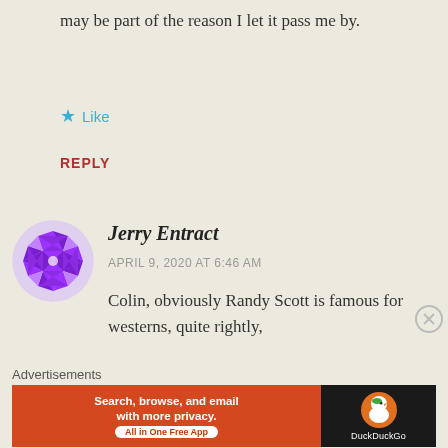may be part of the reason I let it pass me by.
★ Like
REPLY
[Figure (illustration): Purple geometric/quilt-pattern avatar icon for user Jerry Entract, circular crop]
Jerry Entract
APRIL 9, 2020 AT 6:46 AM
Colin, obviously Randy Scott is famous for westerns, quite rightly,
Advertisements
[Figure (screenshot): DuckDuckGo advertisement banner: orange left section reads 'Search, browse, and email with more privacy. All in One Free App', dark right section shows DuckDuckGo duck logo and text 'DuckDuckGo']